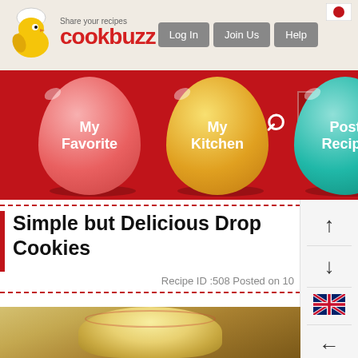[Figure (screenshot): Cookbuzz website header with logo showing a cartoon chick wearing a chef's hat, tagline 'Share your recipes', site name 'cookbuzz' in red, and navigation buttons: Log In, Join Us, Help, plus a Japanese flag icon]
[Figure (screenshot): Red navigation bar with three egg-shaped buttons: 'My Favorite' (pink), 'My Kitchen' (yellow), 'Post Recipe' (teal), plus a search icon and MENU hamburger button]
Simple but Delicious Drop Cookies
Recipe ID :508 Posted on 10
[Figure (photo): Partial photo of cookies on a decorative plate with floral pattern on a wooden surface]